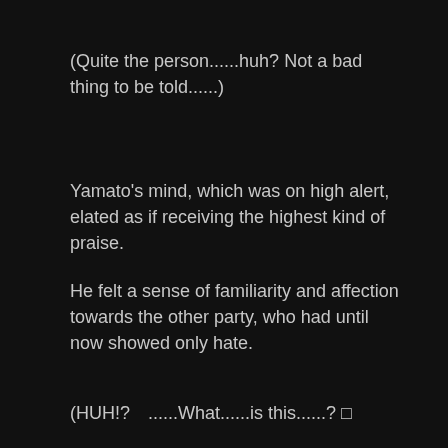(Quite the person......huh? Not a bad thing to be told......)
Yamato’s mind, which was on high alert, elated as if receiving the highest kind of praise.
He felt a sense of familiarity and affection towards the other party, who had until now showed only hate.
(HUH!? ......What......is this......? □